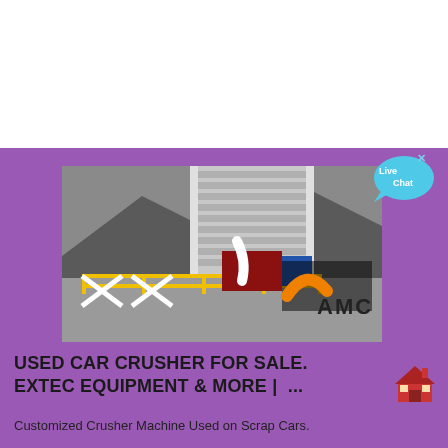[Figure (photo): Industrial crusher machine at a mining or scrap facility, showing large metal structure with horizontal slats/grates, yellow safety railings, machinery with AMC branding, and a pile of material in the background.]
USED CAR CRUSHER FOR SALE. EXTEC EQUIPMENT & MORE | ...
Customized Crusher Machine Used on Scrap Cars.